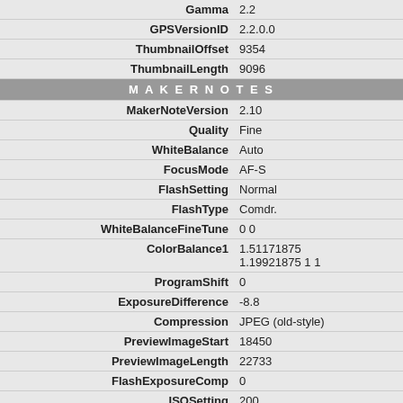| Key | Value |
| --- | --- |
| Gamma | 2.2 |
| GPSVersionID | 2.2.0.0 |
| ThumbnailOffset | 9354 |
| ThumbnailLength | 9096 |
| MAKERNOTES |  |
| MakerNoteVersion | 2.10 |
| Quality | Fine |
| WhiteBalance | Auto |
| FocusMode | AF-S |
| FlashSetting | Normal |
| FlashType | Comdr. |
| WhiteBalanceFineTune | 0 0 |
| ColorBalance1 | 1.51171875 1.19921875 1 1 |
| ProgramShift | 0 |
| ExposureDifference | -8.8 |
| Compression | JPEG (old-style) |
| PreviewImageStart | 18450 |
| PreviewImageLength | 22733 |
| FlashExposureComp | 0 |
| ISOSetting | 200 |
| ImageBoundary | 0 0 4288 2848 |
| FlashExposureBracketValue | 0.0 |
| ExposureBracketValue | 0 |
| CropHiSpeed | Off (4352x2868 cropped to 4352x2868 at pi 0,0) |
| SerialNumber | 3043558 |